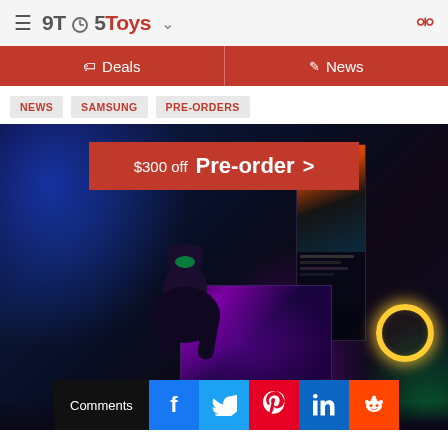9TO5Toys
Deals | News
NEWS
SAMSUNG
PRE-ORDERS
[Figure (photo): Gaming room setup with a person sitting at a desk with multiple monitors including a vertical monitor and a horizontal monitor showing gaming content, blue and purple ambient lighting, and a ring light]
$300 off  Pre-order >
Comments  f  Twitter  Pinterest  in  Reddit